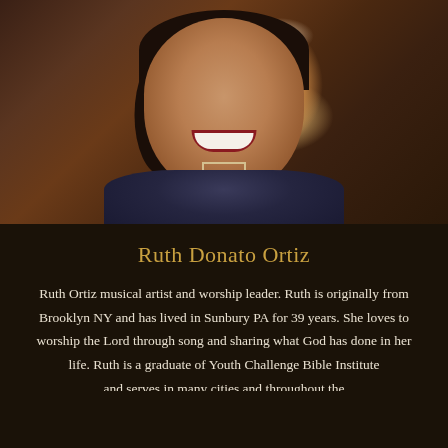[Figure (photo): Portrait photo of Ruth Donato Ortiz, a smiling woman with dark hair, wearing a dark speckled jacket and necklace, photographed against a dark wood background]
Ruth Donato Ortiz
Ruth Ortiz musical artist and worship leader. Ruth is originally from Brooklyn NY and has lived in Sunbury PA for 39 years. She loves to worship the Lord through song and sharing what God has done in her life. Ruth is a graduate of Youth Challenge Bible Institute and serves in many cities and throughout the